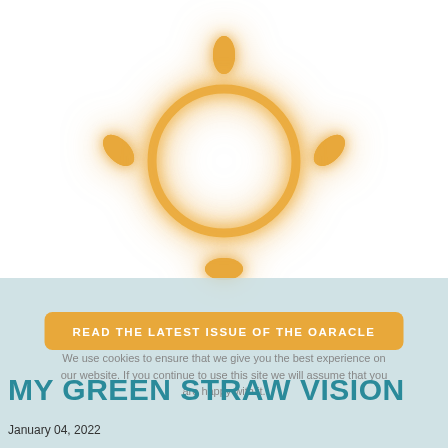[Figure (illustration): Hand-drawn style orange sun with circle and rays, blurred/glowing, on white background]
READ THE LATEST ISSUE OF THE OARACLE
We use cookies to ensure that we give you the best experience on our website. If you continue to use this site we will assume that you are happy with it.
MY GREEN STRAW VISION
January 04, 2022